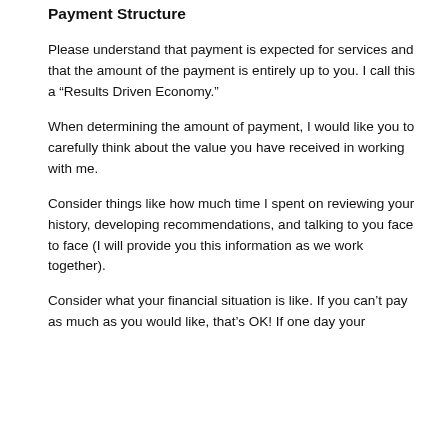Payment Structure
Please understand that payment is expected for services and that the amount of the payment is entirely up to you.  I call this a “Results Driven Economy.”
When determining the amount of payment, I would like you to carefully think about the value you have received in working with me.
Consider things like how much time I spent on reviewing your history, developing recommendations, and talking to you face to face (I will provide you this information as we work together).
Consider what your financial situation is like.  If you can’t pay as much as you would like, that’s OK!  If one day your